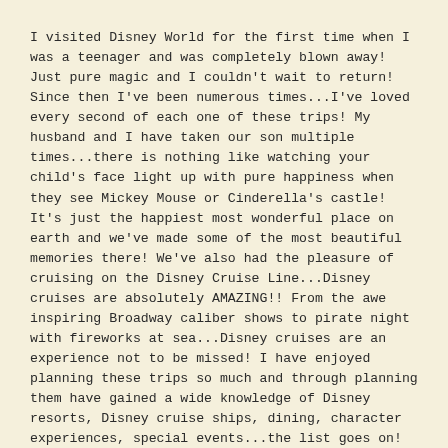I visited Disney World for the first time when I was a teenager and was completely blown away! Just pure magic and I couldn't wait to return! Since then I've been numerous times...I've loved every second of each one of these trips! My husband and I have taken our son multiple times...there is nothing like watching your child's face light up with pure happiness when they see Mickey Mouse or Cinderella's castle! It's just the happiest most wonderful place on earth and we've made some of the most beautiful memories there! We've also had the pleasure of cruising on the Disney Cruise Line...Disney cruises are absolutely AMAZING!! From the awe inspiring Broadway caliber shows to pirate night with fireworks at sea...Disney cruises are an experience not to be missed! I have enjoyed planning these trips so much and through planning them have gained a wide knowledge of Disney resorts, Disney cruise ships, dining, character experiences, special events...the list goes on!
Planning one of these amazing Disney vacations can be time consuming and stressful...and that's